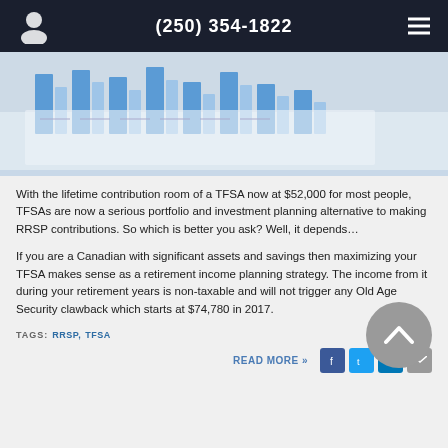(250) 354-1822
[Figure (photo): Photo of bar chart documents on a desk, blue bars visible]
With the lifetime contribution room of a TFSA now at $52,000 for most people, TFSAs are now a serious portfolio and investment planning alternative to making RRSP contributions. So which is better you ask? Well, it depends...
If you are a Canadian with significant assets and savings then maximizing your TFSA makes sense as a retirement income planning strategy. The income from it during your retirement years is non-taxable and will not trigger any Old Age Security clawback which starts at $74,780 in 2017.
TAGS:  RRSP,  TFSA
READ MORE »